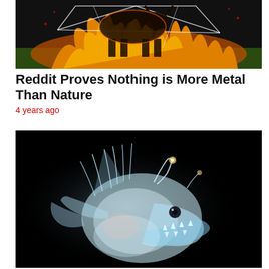[Figure (photo): A dark, dramatic photo of a bull or large animal surrounded by fire and flames, with glowing geometric lines overlaid on a dark background with green grass visible]
Reddit Proves Nothing is More Metal Than Nature
4 years ago
[Figure (photo): A bioluminescent anglerfish photographed against a black background, appearing translucent/glowing white-blue, showing the fish's distinctive large mouth with sharp teeth and its elaborate dorsal fin spine]